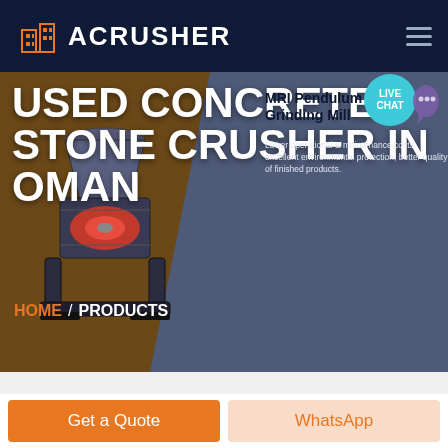ACRUSHER
USED CONCRETE STONE CRUSHER IN OMAN
[Figure (screenshot): Industrial stone crusher machine shown on brown/dark hero background]
MRI Pendulum Roller Grinding Mill
Lower operational & maintenance costs, excellent environmental protection, better quality of finished products.
LIVE CHAT
HOME / PRODUCTS
Get a Quote
WhatsApp